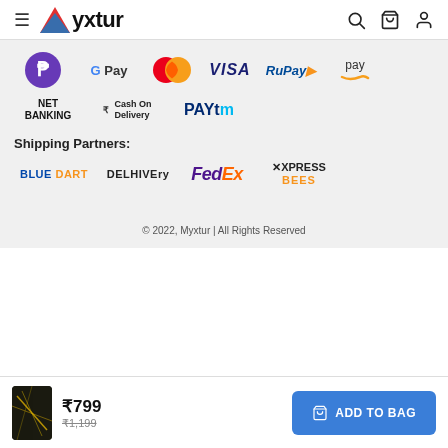Myxtur
[Figure (logo): Payment method logos: PhonePe, Google Pay, Mastercard, VISA, RuPay, Amazon Pay, NET BANKING, Cash On Delivery, Paytm]
Shipping Partners:
[Figure (logo): Shipping partner logos: BLUE DART, DELHIVERY, FedEx, XPRESS BEES]
© 2022, Myxtur | All Rights Reserved
₹799 ₹1,199 ADD TO BAG